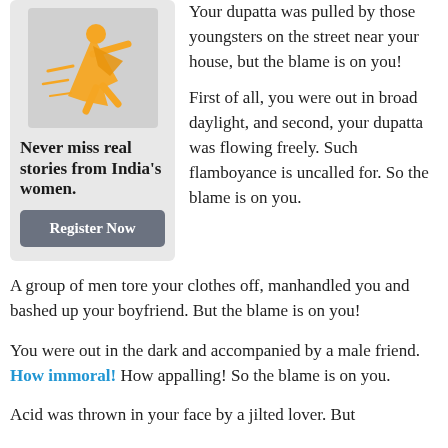Your dupatta was pulled by those youngsters on the street near your house, but the blame is on you!
[Figure (illustration): Orange/yellow illustration of a woman in Indian attire on gray background]
Never miss real stories from India's women.
Register Now
First of all, you were out in broad daylight, and second, your dupatta was flowing freely. Such flamboyance is uncalled for. So the blame is on you.
A group of men tore your clothes off, manhandled you and bashed up your boyfriend. But the blame is on you!
You were out in the dark and accompanied by a male friend. How immoral! How appalling! So the blame is on you.
Acid was thrown in your face by a jilted lover. But